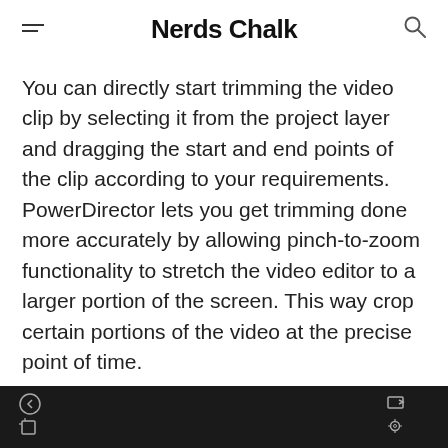Nerds Chalk
You can directly start trimming the video clip by selecting it from the project layer and dragging the start and end points of the clip according to your requirements. PowerDirector lets you get trimming done more accurately by allowing pinch-to-zoom functionality to stretch the video editor to a larger portion of the screen. This way crop certain portions of the video at the precise point of time.
[Figure (screenshot): Dark screenshot bar at the bottom with navigation icons on left and right sides against a black background]